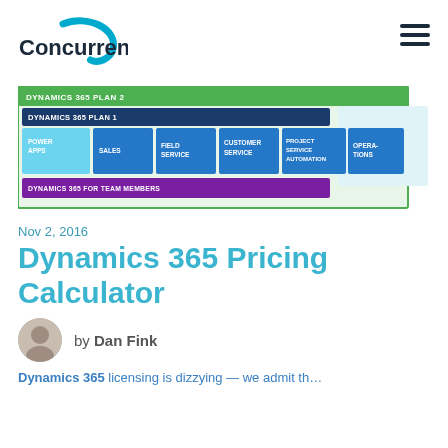[Figure (logo): Concurrency company logo — stylized text with teal swoosh]
[Figure (infographic): Dynamics 365 plan diagram showing nested plans: Dynamics 365 Plan 2 (green outer), Dynamics 365 Plan 1 (dark blue), with modules PowerApps (light blue), Sales, Field Service, Customer Service, Project Service Automation (all blue), Operations (blue), and Dynamics 365 for Team Members (purple bar)]
Nov 2, 2016
Dynamics 365 Pricing Calculator
by Dan Fink
Dynamics 365 licensing is dizzying — we admit th…